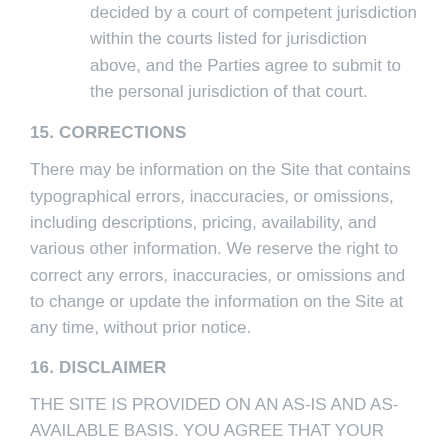decided by a court of competent jurisdiction within the courts listed for jurisdiction above, and the Parties agree to submit to the personal jurisdiction of that court.
15. CORRECTIONS
There may be information on the Site that contains typographical errors, inaccuracies, or omissions, including descriptions, pricing, availability, and various other information. We reserve the right to correct any errors, inaccuracies, or omissions and to change or update the information on the Site at any time, without prior notice.
16. DISCLAIMER
THE SITE IS PROVIDED ON AN AS-IS AND AS-AVAILABLE BASIS. YOU AGREE THAT YOUR USE OF THE SITE AND OUR SERVICES WILL...